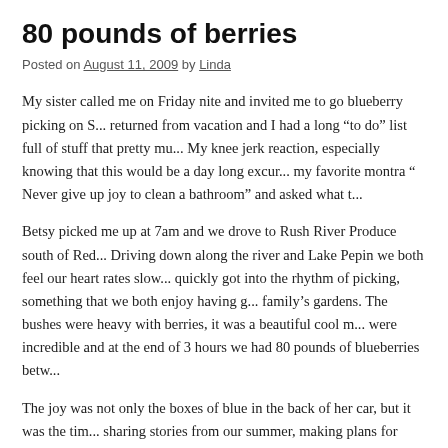80 pounds of berries
Posted on August 11, 2009 by Linda
My sister called me on Friday nite and invited me to go blueberry picking on S... returned from vacation and I had a long “to do” list full of stuff that pretty mu... My knee jerk reaction, especially knowing that this would be a day long excur... my favorite montra “ Never give up joy to clean a bathroom” and asked what t...
Betsy picked me up at 7am and we drove to Rush River Produce south of Red... Driving down along the river and Lake Pepin we both feel our heart rates slow... quickly got into the rhythm of picking, something that we both enjoy having g... family’s gardens. The bushes were heavy with berries, it was a beautiful cool m... were incredible and at the end of 3 hours we had 80 pounds of blueberries betw...
The joy was not only the boxes of blue in the back of her car, but it was the tim... sharing stories from our summer, making plans for Shady Sister’s upcoming sa... kids, and most of all just enjoying time together. Lives are so busy these days a... done. Even tho my gardens are still full of weeds and the laundry baskets are o...